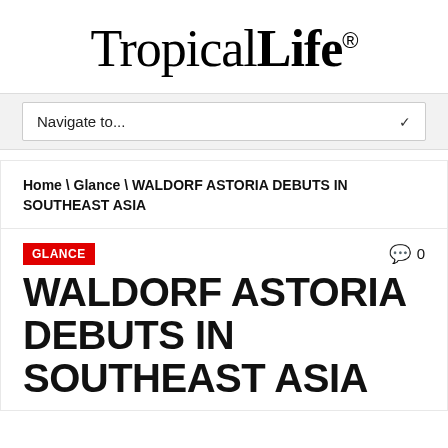[Figure (logo): TropicalLife logo with 'Tropical' in light/thin serif and 'Life' in bold serif, followed by a registered trademark symbol]
Navigate to...
Home \ Glance \ WALDORF ASTORIA DEBUTS IN SOUTHEAST ASIA
GLANCE
0
WALDORF ASTORIA DEBUTS IN SOUTHEAST ASIA